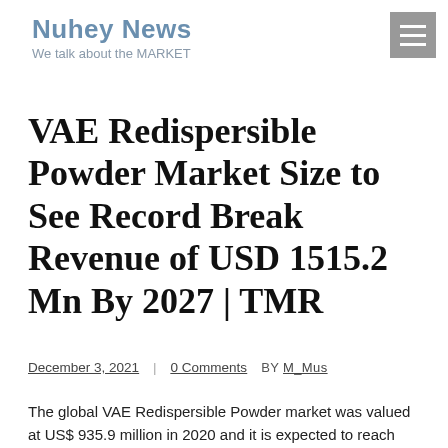Nuhey News
We talk about the MARKET
VAE Redispersible Powder Market Size to See Record Break Revenue of USD 1515.2 Mn By 2027 | TMR
December 3, 2021 | 0 Comments BY M_Mus
The global VAE Redispersible Powder market was valued at US$ 935.9 million in 2020 and it is expected to reach US$